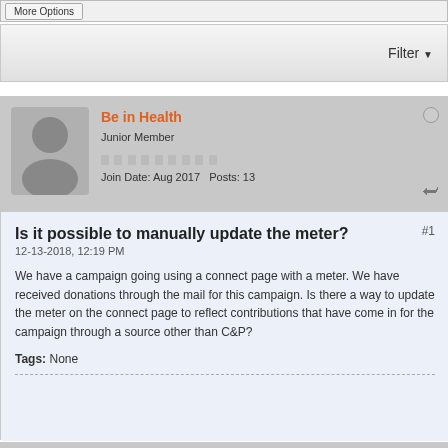More Options
Filter
Be in Health
Junior Member
Join Date: Aug 2017  Posts: 13
Is it possible to manually update the meter?
12-13-2018, 12:19 PM
We have a campaign going using a connect page with a meter. We have received donations through the mail for this campaign. Is there a way to update the meter on the connect page to reflect contributions that have come in for the campaign through a source other than C&P?
Tags: None
CnP.Support.AM
C&P Support